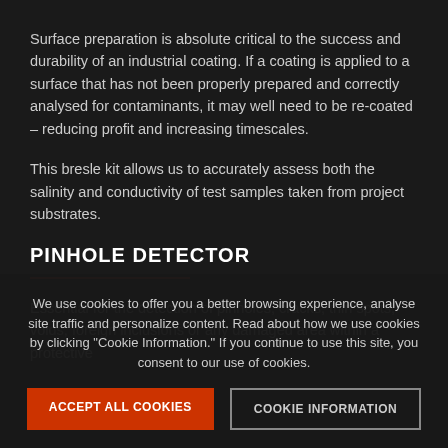Surface preparation is absolute critical to the success and durability of an industrial coating. If a coating is applied to a surface that has not been properly prepared and correctly analysed for contaminants, it may well need to be re-coated – reducing profit and increasing timescales.
This bresle kit allows us to accurately assess both the salinity and conductivity of test samples taken from project substrates.
PINHOLE DETECTOR
Essential for the detection of pinholes, cracks, thin spots, voids, foreign inclusions or any damaged area within a protective coating.
We use cookies to offer you a better browsing experience, analyse site traffic and personalize content. Read about how we use cookies by clicking "Cookie Information." If you continue to use this site, you consent to our use of cookies.